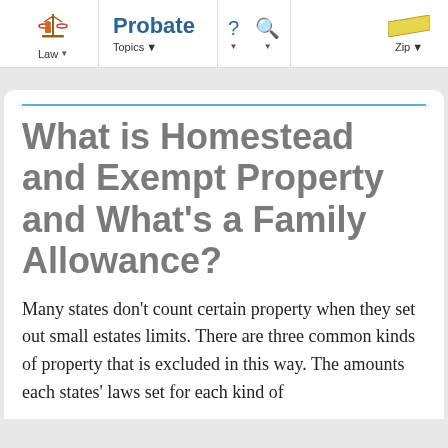Law | Probate Topics | ? | Q | Zip
What is Homestead and Exempt Property and What's a Family Allowance?
Many states don't count certain property when they set out small estates limits. There are three common kinds of property that is excluded in this way. The amounts each states' laws set for each kind of